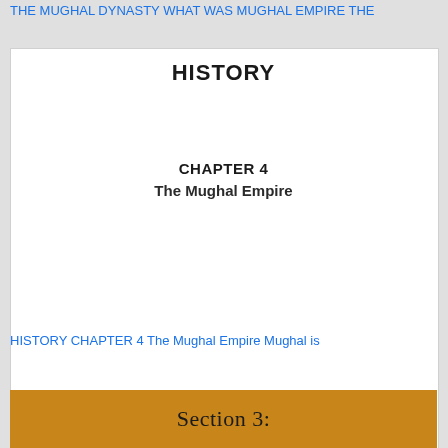THE MUGHAL DYNASTY WHAT WAS MUGHAL EMPIRE THE
HISTORY
CHAPTER 4
The Mughal Empire
HISTORY CHAPTER 4 The Mughal Empire Mughal is
Section 3: